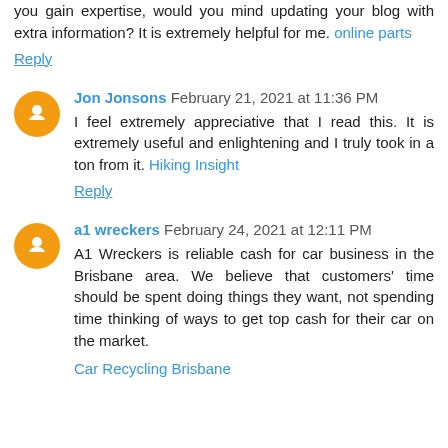you gain expertise, would you mind updating your blog with extra information? It is extremely helpful for me. online parts
Reply
Jon Jonsons February 21, 2021 at 11:36 PM
I feel extremely appreciative that I read this. It is extremely useful and enlightening and I truly took in a ton from it. Hiking Insight
Reply
a1 wreckers February 24, 2021 at 12:11 PM
A1 Wreckers is reliable cash for car business in the Brisbane area. We believe that customers' time should be spent doing things they want, not spending time thinking of ways to get top cash for their car on the market.
Car Recycling Brisbane